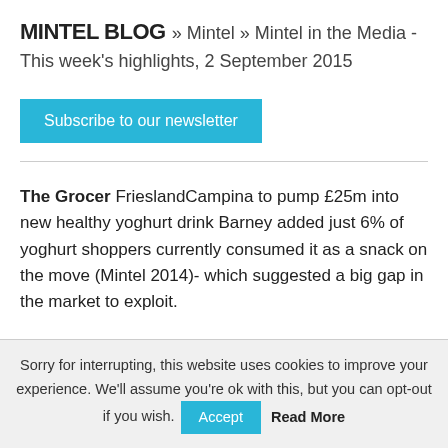MINTEL BLOG » Mintel » Mintel in the Media - This week's highlights, 2 September 2015
Subscribe to our newsletter
The Grocer FrieslandCampina to pump £25m into new healthy yoghurt drink Barney added just 6% of yoghurt shoppers currently consumed it as a snack on the move (Mintel 2014)- which suggested a big gap in the market to exploit.
The Grocer Hot desserts go soft That's not to say suppliers, traditional or otherwise, can afford to be
Sorry for interrupting, this website uses cookies to improve your experience. We'll assume you're ok with this, but you can opt-out if you wish. Accept Read More